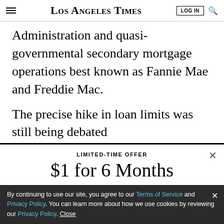Los Angeles Times | LOG IN | search
Administration and quasi-governmental secondary mortgage operations best known as Fannie Mae and Freddie Mac.
The precise hike in loan limits was still being debated
LIMITED-TIME OFFER
$1 for 6 Months
SUBSCRIBE NOW
By continuing to use our site, you agree to our Terms of Service and Privacy Policy. You can learn more about how we use cookies by reviewing our Privacy Policy. Close